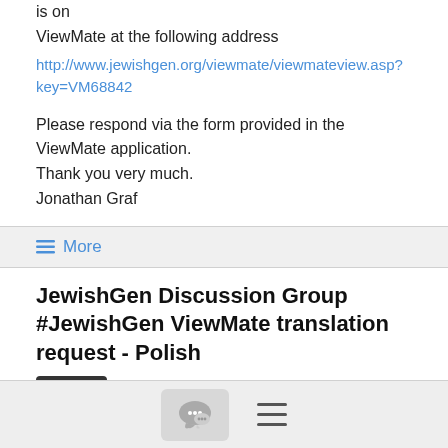is on
ViewMate at the following address
http://www.jewishgen.org/viewmate/viewmateview.asp?key=VM68842
Please respond via the form provided in the ViewMate application.
Thank you very much.
Jonathan Graf
≡ More
JewishGen Discussion Group #JewishGen ViewMate translation request - Polish #general
jonathan.graf@...   7/29/18
I've posted a vital record in Polish for which I need a translation. It is on
ViewMate at the following address